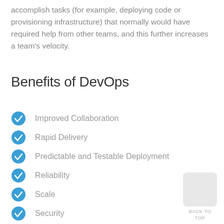accomplish tasks (for example, deploying code or provisioning infrastructure) that normally would have required help from other teams, and this further increases a team's velocity.
Benefits of DevOps
Improved Collaboration
Rapid Delivery
Predictable and Testable Deployment
Reliability
Scale
Security